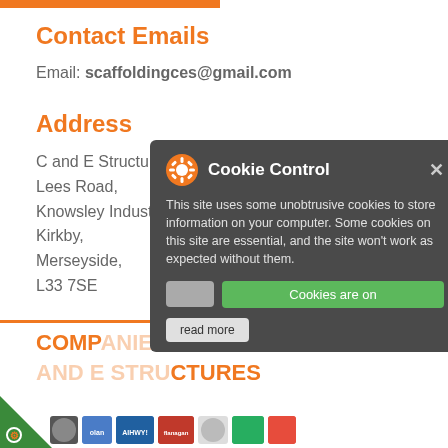Contact Emails
Email: scaffoldingces@gmail.com
Address
C and E Structures,
Lees Road,
Knowsley Industrial Park North,
Kirkby,
Merseyside,
L33 7SE
[Figure (other): Cookie Control popup overlay with toggle and 'Cookies are on' button, 'read more' link]
COMPANIES ASSOCIATED WITH C AND E STRUCTURES